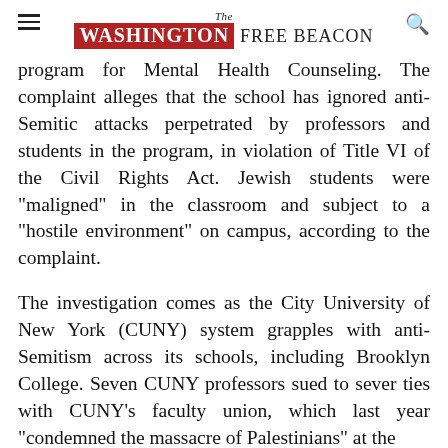The Washington Free Beacon
program for Mental Health Counseling. The complaint alleges that the school has ignored anti-Semitic attacks perpetrated by professors and students in the program, in violation of Title VI of the Civil Rights Act. Jewish students were "maligned" in the classroom and subject to a "hostile environment" on campus, according to the complaint.
The investigation comes as the City University of New York (CUNY) system grapples with anti-Semitism across its schools, including Brooklyn College. Seven CUNY professors sued to sever ties with CUNY's faculty union, which last year "condemned the massacre of Palestinians" at the